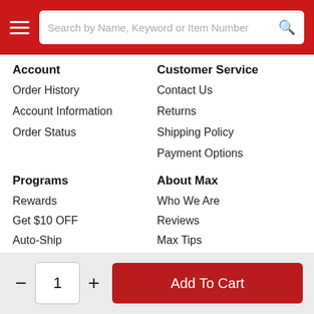Search by Name, Keyword or Item Number
Account
Order History
Account Information
Order Status
Customer Service
Contact Us
Returns
Shipping Policy
Payment Options
Programs
Rewards
Get $10 OFF
Auto-Ship
Deals
Max Supply Pro
About Max
Who We Are
Reviews
Max Tips
Site Map
1
Add To Cart